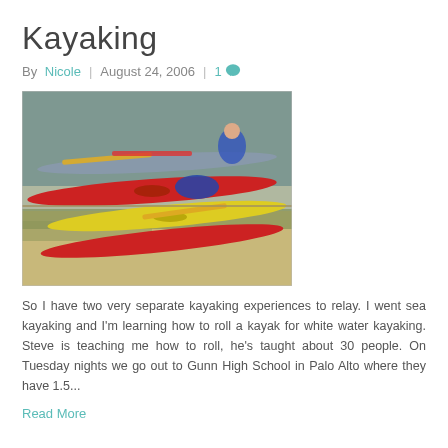Kayaking
By Nicole | August 24, 2006 | 1
[Figure (photo): Several kayaks on a sandy/grassy shore — red, yellow, and other colored sea kayaks lined up, with paddles and gear, and a person in blue in the background near water.]
So I have two very separate kayaking experiences to relay. I went sea kayaking and I'm learning how to roll a kayak for white water kayaking. Steve is teaching me how to roll, he's taught about 30 people. On Tuesday nights we go out to Gunn High School in Palo Alto where they have 1.5...
Read More